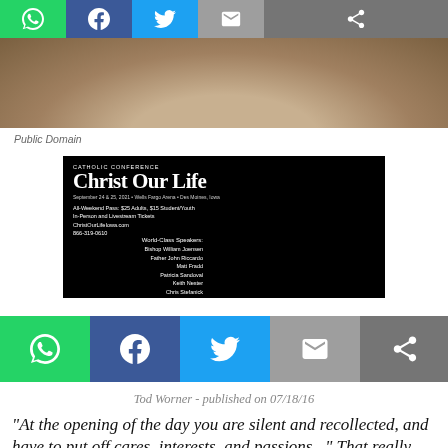[Figure (screenshot): Top social sharing bar with WhatsApp (green), Facebook (blue), Twitter (cyan), Email (grey), and Share (dark grey) buttons]
[Figure (photo): Partial portrait photograph of a person, appears historical/sepia toned, cropped at head/shoulder area]
Public Domain
[Figure (other): Advertisement banner for Christ Our Life Catholic Conference, September 24 & 25, 2021, Wells Fargo Arena, Des Moines, Iowa. All-Weekend Pass: $25 Adults, $15 Student/Youth. In-Person and Livestream Tickets. ChristOurLifeIowa.com. 866-319-0610. World-Class Speakers: Bishop William Joensen, Father John Riccardo, Matt Fradd, Patricia Sandoval, Keith Nester, Chris Stefanick, Tim Jameson, Magnus MacFarlane-Barrow, Steve Angrisano.]
[Figure (screenshot): Bottom social sharing bar with WhatsApp, Facebook, Twitter, Email, and Share buttons (larger than top bar)]
Tod Worner - published on 07/18/16
"At the opening of the day you are silent and recollected, and have to put off cares, interests, and passions..." That really DOES sound good!